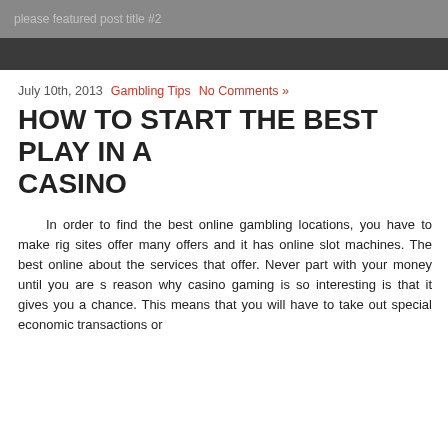please featured post title #2
July 10th, 2013   Gambling Tips   No Comments »
HOW TO START THE BEST PLAY IN A CASINO
In order to find the best online gambling locations, you have to make rig... sites offer many offers and it has online slot machines. The best online about the services that offer. Never part with your money until you are s reason why casino gaming is so interesting is that it gives you a chance. This means that you will have to take out special economic transactions or